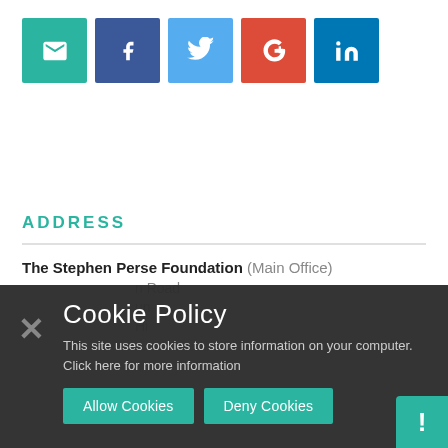[Figure (infographic): Social media sharing buttons: email (teal), Facebook (dark blue), Twitter (blue), Google+ (red), LinkedIn (blue)]
ADDRESS
The Stephen Perse Foundation (Main Office)
Cookie Policy
This site uses cookies to store information on your computer. Click here for more information
Allow Cookies  Deny Cookies